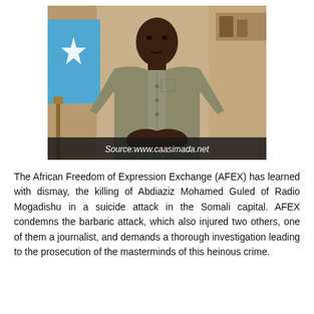[Figure (photo): A man in a grey/khaki button-up shirt seated before a Somali flag and a wood-paneled background. An overlaid caption bar reads: Source:www.caasimada.net]
The African Freedom of Expression Exchange (AFEX) has learned with dismay, the killing of Abdiaziz Mohamed Guled of Radio Mogadishu in a suicide attack in the Somali capital. AFEX condemns the barbaric attack, which also injured two others, one of them a journalist, and demands a thorough investigation leading to the prosecution of the masterminds of this heinous crime.